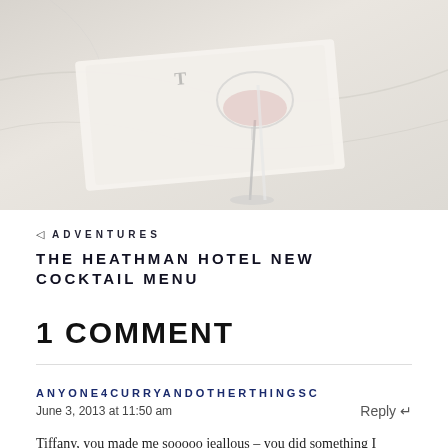[Figure (photo): Photo of a wine glass with a napkin on a marble surface]
ADVENTURES
THE HEATHMAN HOTEL NEW COCKTAIL MENU
1 COMMENT
ANYONE4CURRYANDOTHERTHINGSC
June 3, 2013 at 11:50 am
Reply
Tiffany, you made me sooooo jeallous – you did something I always wanted to do but never got a